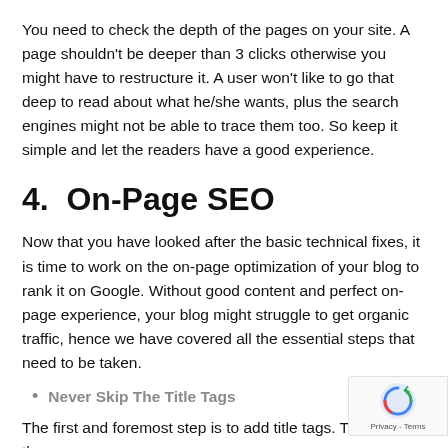You need to check the depth of the pages on your site. A page shouldn't be deeper than 3 clicks otherwise you might have to restructure it. A user won't like to go that deep to read about what he/she wants, plus the search engines might not be able to trace them too. So keep it simple and let the readers have a good experience.
4.  On-Page SEO
Now that you have looked after the basic technical fixes, it is time to work on the on-page optimization of your blog to rank it on Google. Without good content and perfect on-page experience, your blog might struggle to get organic traffic, hence we have covered all the essential steps that need to be taken.
Never Skip The Title Tags
The first and foremost step is to add title tags. They inform the